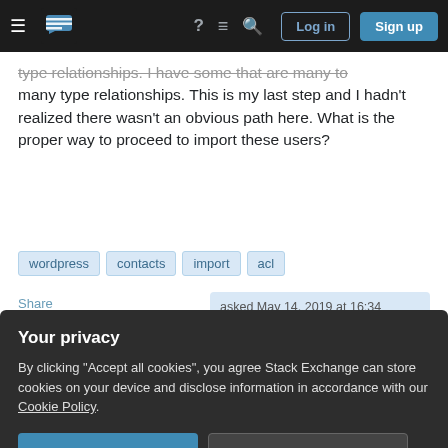Stack Exchange navigation bar with Log in and Sign up buttons
type relationships. I have some that are many to many type relationships. This is my last step and I hadn't realized there wasn't an obvious path here. What is the proper way to proceed to import these users?
wordpress
contacts
import
acl
Share
Improve this question
Follow
asked May 14, 2019 at 16:34
LyonsDigital
633 ● 3 ● 11
Your privacy
By clicking "Accept all cookies", you agree Stack Exchange can store cookies on your device and disclose information in accordance with our Cookie Policy.
Accept all cookies    Customize settings
behalf of an organisation, which is the recommended